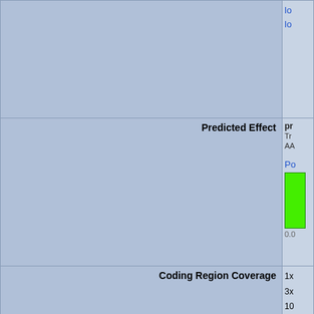| Field | Value |
| --- | --- |
|  | lo
lo |
| Predicted Effect | pr
Tr
AA

Po
[green bar]
0.0 |
| Coding Region Coverage | 1x
3x
10
20 |
| Validation Efficiency | 10 |
| Allele List at MGI |  |
| Other mutations in this stock | To
G |